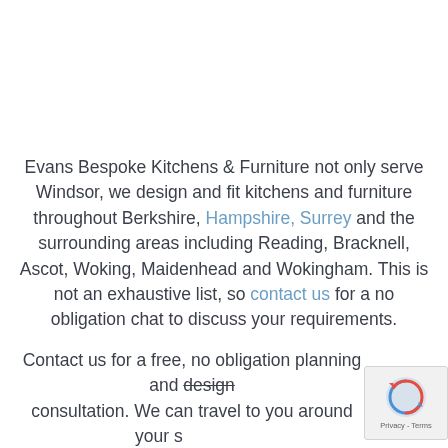Evans Bespoke Kitchens & Furniture not only serve Windsor, we design and fit kitchens and furniture throughout Berkshire, Hampshire, Surrey and the surrounding areas including Reading, Bracknell, Ascot, Woking, Maidenhead and Wokingham. This is not an exhaustive list, so contact us for a no obligation chat to discuss your requirements.
Contact us for a free, no obligation planning and design consultation. We can travel to you around your s... and once we have discussed your requirement...